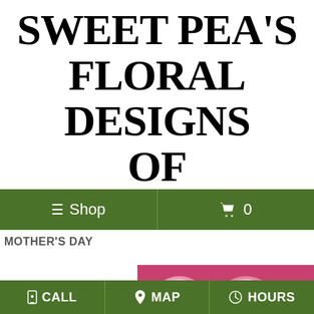SWEET PEA'S FLORAL DESIGNS OF DISTINCTION
[Figure (screenshot): Green navigation bar with hamburger menu icon and 'Shop' text on left, shopping cart icon and '0' on right]
MOTHER'S DAY
[Figure (photo): Partial photo of pink flowers/peonies on pink background]
CALL   MAP   HOURS